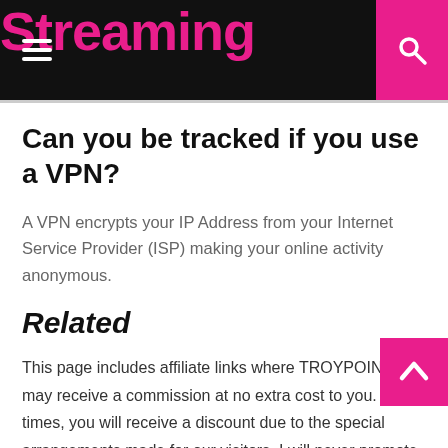Streaming
Can you be tracked if you use a VPN?
A VPN encrypts your IP Address from your Internet Service Provider (ISP) making your online activity anonymous.
Related
This page includes affiliate links where TROYPOINT may receive a commission at no extra cost to you. Many times, you will receive a discount due to the special arrangements made for our visitors. I will never promote something that I personally don't use or recommend. Purchasing through my links directly supports TROYPOINT which keeps the content and tools